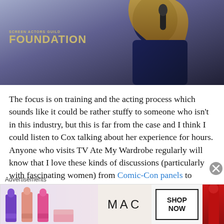[Figure (photo): Photo banner showing a woman with long blonde hair in a dark navy outfit holding a microphone, with Screen Actors Guild Foundation logo overlay]
The focus is on training and the acting process which sounds like it could be rather stuffy to someone who isn't in this industry, but this is far from the case and I think I could listen to Cox talking about her experience for hours. Anyone who visits TV Ate My Wardrobe regularly will know that I love these kinds of discussions (particularly with fascinating women) from Comic-Con panels to Emmy roundtables and one reason I am such a fan of these longer discussions is that you get so much more from the
[Figure (advertisement): MAC Cosmetics advertisement showing multiple lipsticks in purple, pink, and red colors with MAC logo and SHOP NOW button]